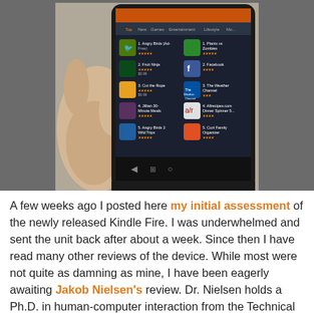[Figure (photo): A hand holding a Kindle Fire tablet showing an app store with various apps listed including Angry Birds, Fruit Ninja, Cut the Rope, Facebook, The Weather Channel, and others. The tablet is displayed at an angle against a blurred background.]
A few weeks ago I posted here my initial assessment of the newly released Kindle Fire. I was underwhelmed and sent the unit back after about a week. Since then I have read many other reviews of the device. While most were not quite as damning as mine, I have been eagerly awaiting Jakob Nielsen's review. Dr. Nielsen holds a Ph.D. in human-computer interaction from the Technical University of Denmark in Copenhagen. He is a User Advocate and